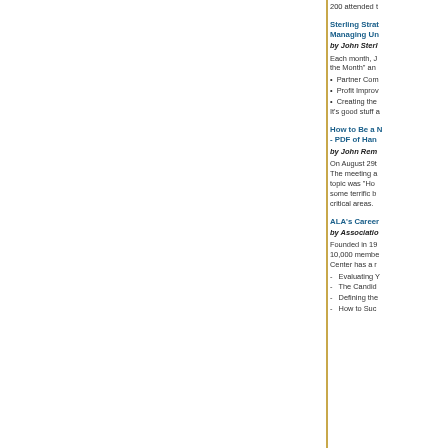200 attended t
Sterling Strat Managing Un
by John Sterl
Each month, J the Month" an
• Partner Com
• Profit Improv
• Creating the
It's good stuff a
How to Be a N - PDF of Han
by John Rem
On August 29t The meeting a topic was "Ho some terrific b critical areas.
ALA's Career
by Associatio
Founded in 19 10,000 membe Center has a r
- Evaluating Y
- The Candid
- Defining the
- How to Suc